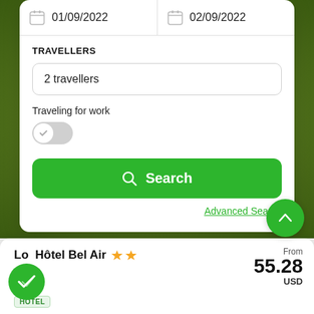01/09/2022
02/09/2022
TRAVELLERS
2 travellers
Traveling for work
Search
Advanced Search
Lo  Hôtel Bel Air ★★
From 55.28 USD
HÔTEL